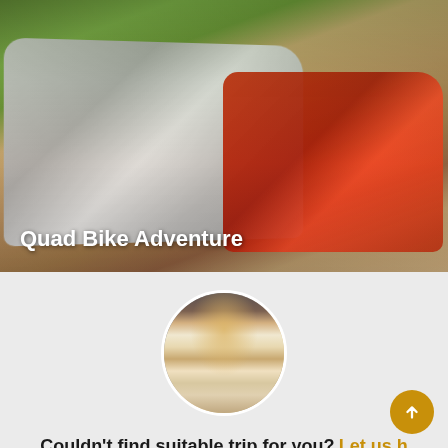[Figure (photo): Two ATV quad bikes on a dirt path with green rice fields in background. A person is seated on the white/silver quad bike in the foreground. Red quad bike visible on the right.]
Quad Bike Adventure
[Figure (photo): Circular avatar photo of a woman in traditional Cambodian/Apsara dance costume with golden headdress and white outfit with gold ornaments, posed in front of ancient temple stones.]
Couldn't find suitable trip for you? Let us help you!